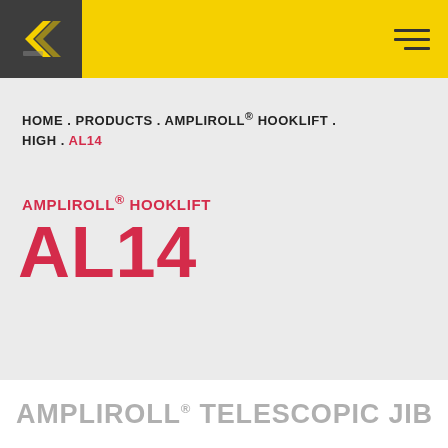[Figure (logo): Company logo: stylized arrow/chevron shape in yellow on dark gray background, with hamburger menu icon on yellow bar]
HOME . PRODUCTS . AMPLIROLL® HOOKLIFT . HIGH . AL14
AMPLIROLL® HOOKLIFT
AL14
AMPLIROLL® TELESCOPIC JIB